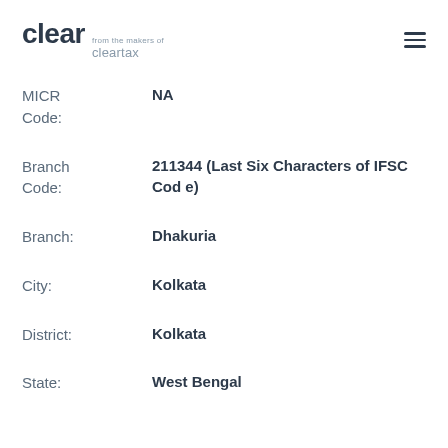clear from the makers of cleartax
MICR Code: NA
Branch Code: 211344 (Last Six Characters of IFSC Code)
Branch: Dhakuria
City: Kolkata
District: Kolkata
State: West Bengal